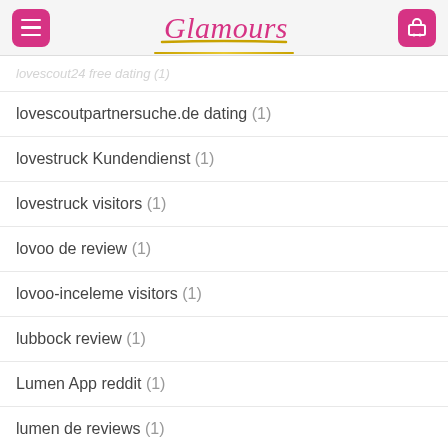Glamours
lovescoutpartnersuche.de dating (1)
lovestruck Kundendienst (1)
lovestruck visitors (1)
lovoo de review (1)
lovoo-inceleme visitors (1)
lubbock review (1)
Lumen App reddit (1)
lumen de reviews (1)
lutheran dating login (1)